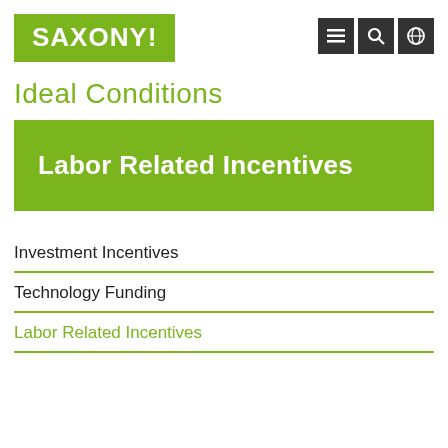SAXONY!
Ideal Conditions
Labor Related Incentives
Investment Incentives
Technology Funding
Labor Related Incentives